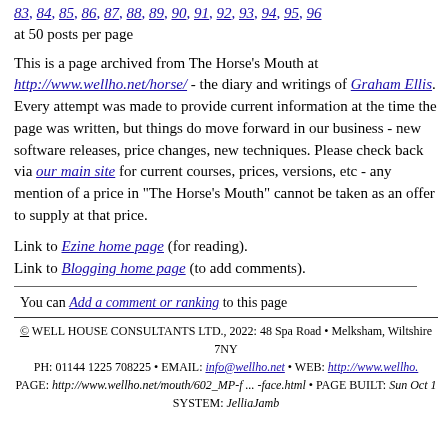83, 84, 85, 86, 87, 88, 89, 90, 91, 92, 93, 94, 95, 96
at 50 posts per page
This is a page archived from The Horse's Mouth at http://www.wellho.net/horse/ - the diary and writings of Graham Ellis. Every attempt was made to provide current information at the time the page was written, but things do move forward in our business - new software releases, price changes, new techniques. Please check back via our main site for current courses, prices, versions, etc - any mention of a price in "The Horse's Mouth" cannot be taken as an offer to supply at that price.
Link to Ezine home page (for reading).
Link to Blogging home page (to add comments).
You can Add a comment or ranking to this page
© WELL HOUSE CONSULTANTS LTD., 2022: 48 Spa Road • Melksham, Wiltshire 7NY
PH: 01144 1225 708225 • EMAIL: info@wellho.net • WEB: http://www.wellho...
PAGE: http://www.wellho.net/mouth/602_MP-f ... -face.html • PAGE BUILT: Sun Oct 1
SYSTEM: JelliaJamb